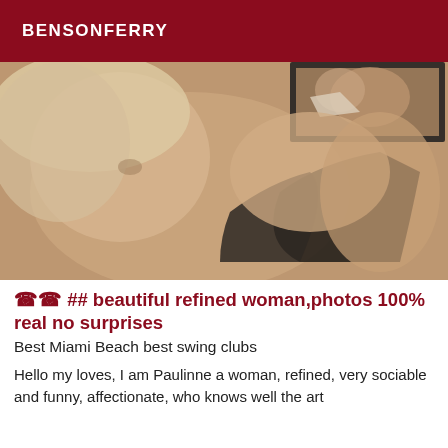BENSONFERRY
[Figure (photo): Sepia-toned photo of a blonde woman looking over her shoulder, partially clothed in black, with a mirror reflection visible in the background.]
📞📞 ## beautiful refined woman,photos 100% real no surprises
Best Miami Beach best swing clubs
Hello my loves, I am Paulinne a woman, refined, very sociable and funny, affectionate, who knows well the art